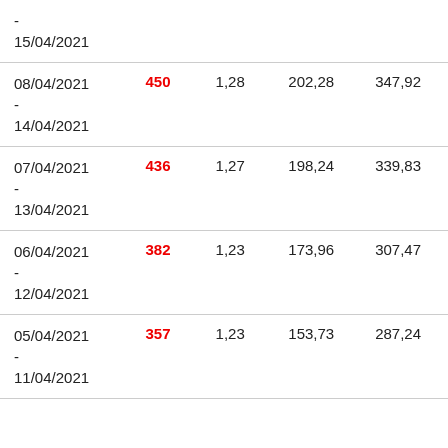| - 15/04/2021 |  |  |  |  |
| 08/04/2021 - 14/04/2021 | 450 | 1,28 | 202,28 | 347,92 |
| 07/04/2021 - 13/04/2021 | 436 | 1,27 | 198,24 | 339,83 |
| 06/04/2021 - 12/04/2021 | 382 | 1,23 | 173,96 | 307,47 |
| 05/04/2021 - 11/04/2021 | 357 | 1,23 | 153,73 | 287,24 |